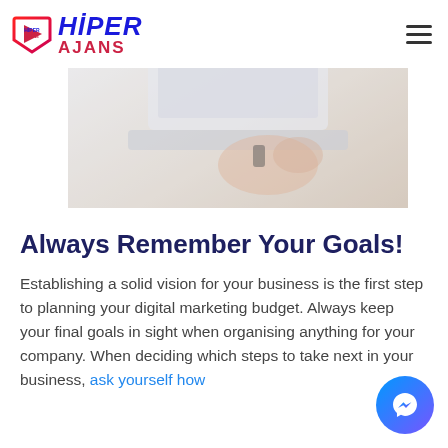HIPER AJANS
[Figure (photo): Person working on a laptop, close-up shot showing hands on keyboard, light and bright background]
Always Remember Your Goals!
Establishing a solid vision for your business is the first step to planning your digital marketing budget. Always keep your final goals in sight when organising anything for your company. When deciding which steps to take next in your business, ask yourself how